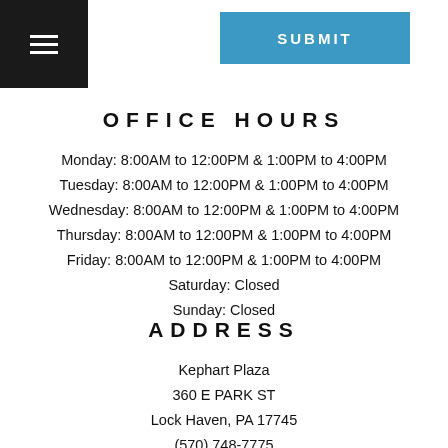SUBMIT
OFFICE HOURS
Monday: 8:00AM to 12:00PM & 1:00PM to 4:00PM
Tuesday: 8:00AM to 12:00PM & 1:00PM to 4:00PM
Wednesday: 8:00AM to 12:00PM & 1:00PM to 4:00PM
Thursday: 8:00AM to 12:00PM & 1:00PM to 4:00PM
Friday: 8:00AM to 12:00PM & 1:00PM to 4:00PM
Saturday: Closed
Sunday: Closed
ADDRESS
Kephart Plaza
360 E PARK ST
Lock Haven, PA 17745
(570) 748-7775